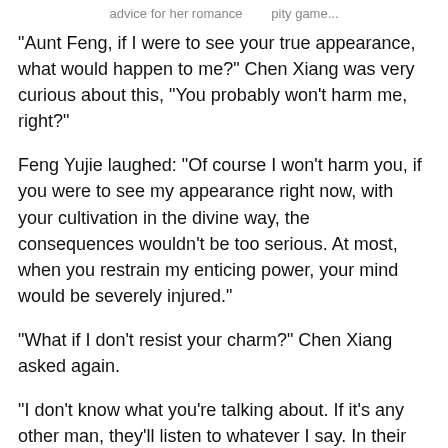advice for her romance      pity game...
"Aunt Feng, if I were to see your true appearance, what would happen to me?" Chen Xiang was very curious about this, "You probably won't harm me, right?"
Feng Yujie laughed: "Of course I won't harm you, if you were to see my appearance right now, with your cultivation in the divine way, the consequences wouldn't be too serious. At most, when you restrain my enticing power, your mind would be severely injured."
"What if I don't resist your charm?" Chen Xiang asked again.
"I don't know what you're talking about. If it's any other man, they'll listen to whatever I say. In their spiritual world, I'm their god, completely under their control. I'll even turn into a walking corpse, only listening to my commands." Feng Yujie suddenly appeared behind Chen Xiang, gently blowing his ear, laughing: "Do you want to try?"
Chen Xiang fiercely jumped away, maintaining a distance from her, his face filled with fear, and said: "Where did you learn this from, isn't this a little too demonic?"